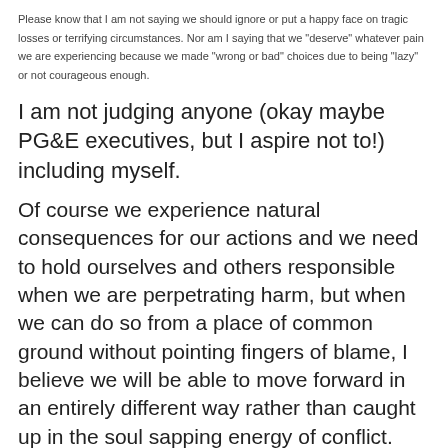Please know that I am not saying we should ignore or put a happy face on tragic losses or terrifying circumstances. Nor am I saying that we "deserve" whatever pain we are experiencing because we made "wrong or bad" choices due to being "lazy" or not courageous enough.
I am not judging anyone (okay maybe PG&E executives, but I aspire not to!) including myself.
Of course we experience natural consequences for our actions and we need to hold ourselves and others responsible when we are perpetrating harm, but when we can do so from a place of common ground without pointing fingers of blame, I believe we will be able to move forward in an entirely different way rather than caught up in the soul sapping energy of conflict.
Perhaps fire can be a friend if it sheds light on the hot and destructive consequences of our previous ways of life and teaches us to be more creative, come together in kindness and love (SO much of